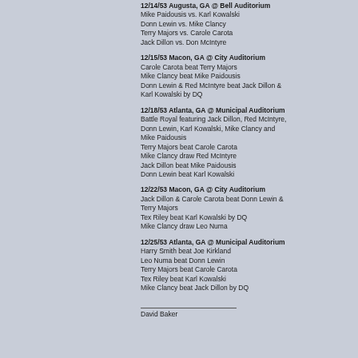12/14/53 Augusta, GA @ Bell Auditorium
Mike Paidousis vs. Karl Kowalski
Donn Lewin vs. Mike Clancy
Terry Majors vs. Carole Carota
Jack Dillon vs. Don McIntyre
12/15/53 Macon, GA @ City Auditorium
Carole Carota beat Terry Majors
Mike Clancy beat Mike Paidousis
Donn Lewin & Red McIntyre beat Jack Dillon & Karl Kowalski by DQ
12/18/53 Atlanta, GA @ Municipal Auditorium
Battle Royal featuring Jack Dillon, Red McIntyre, Donn Lewin, Karl Kowalski, Mike Clancy and Mike Paidousis
Terry Majors beat Carole Carota
Mike Clancy draw Red McIntyre
Jack Dillon beat Mike Paidousis
Donn Lewin beat Karl Kowalski
12/22/53 Macon, GA @ City Auditorium
Jack Dillon & Carole Carota beat Donn Lewin & Terry Majors
Tex Riley beat Karl Kowalski by DQ
Mike Clancy draw Leo Numa
12/25/53 Atlanta, GA @ Municipal Auditorium
Harry Smith beat Joe Kirkland
Leo Numa beat Donn Lewin
Terry Majors beat Carole Carota
Tex Riley beat Karl Kowalski
Mike Clancy beat Jack Dillon by DQ
David Baker